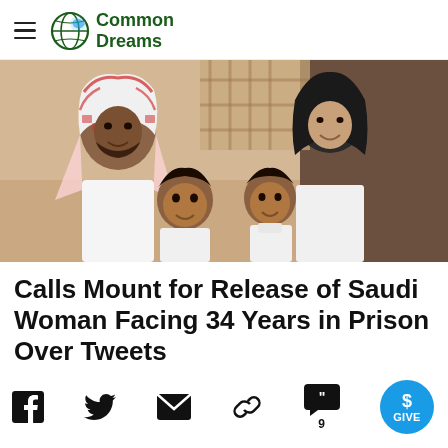Common Dreams
[Figure (photo): A family photo showing a man in traditional Saudi red-and-white checkered keffiyeh and a woman wearing a black hijab, both smiling, with two young children in front of them, all looking upward in a warm indoor setting.]
Calls Mount for Release of Saudi Woman Facing 34 Years in Prison Over Tweets